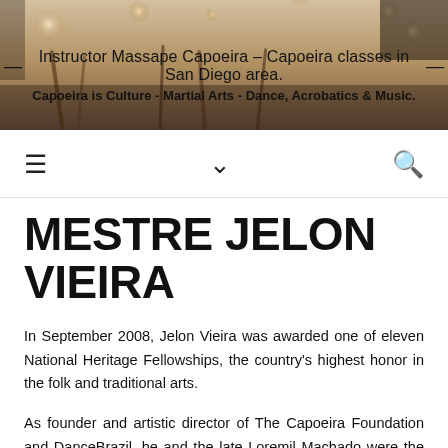[Figure (photo): Background photo showing musical instruments (berimbau sticks/percussion) in warm bokeh tones, used as website header image]
Instructor Massape Capoeira – Capoeira classes in San Diego area. Capoeira is Culture - Martial Arts - Dance, Acrobatics & Music.
MESTRE JELON VIEIRA
In September 2008, Jelon Vieira was awarded one of eleven National Heritage Fellowships, the country's highest honor in the folk and traditional arts.
As founder and artistic director of The Capoeira Foundation and DanceBrazil, he and the late Loremil Machado were the first artists to bring traditional Afro-Brazilian dance and